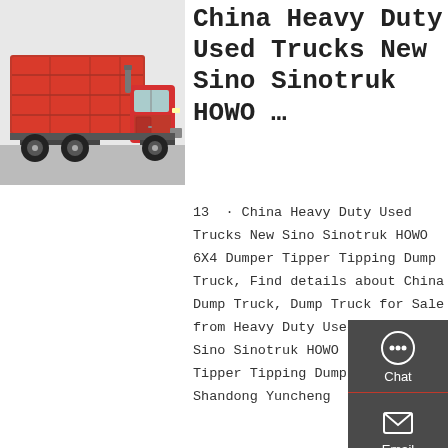[Figure (photo): Red Sinotruk HOWO dump truck / tipper truck parked, red body and cab, viewed from front-left angle]
China Heavy Duty Used Trucks New Sino Sinotruk HOWO …
13 · China Heavy Duty Used Trucks New Sino Sinotruk HOWO 6X4 Dumper Tipper Tipping Dump Truck, Find details about China Dump Truck, Dump Truck for Sale from Heavy Duty Used Trucks New Sino Sinotruk HOWO 6X4 Dumper Tipper Tipping Dump Truck - Shandong Yuncheng